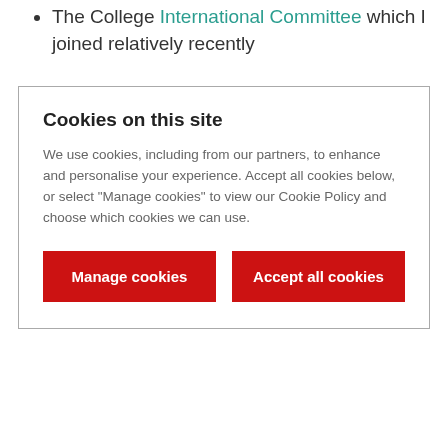The College International Committee which I joined relatively recently
[Figure (screenshot): Cookie consent modal overlay with title 'Cookies on this site', descriptive text about cookie usage, and two red buttons: 'Manage cookies' and 'Accept all cookies']
and Inclusion Advisory Panel which is just reaching its end after two years of intense work.
Whilst my team generally operates in the strategic, rather than the individual case work or transactional space – this week did also include some time on an issue that has proved hard to resolve for an individual.